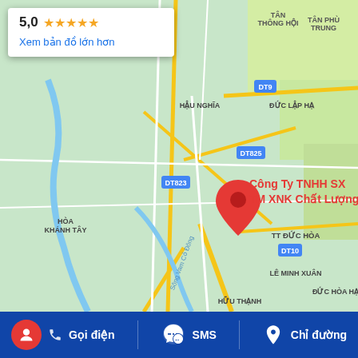[Figure (map): Google Maps screenshot showing location of Công Ty TNHH SX TM XNK Chất Lượng in Đức Hòa area, Long An province, Vietnam. Shows road network with DT9, DT825, DT823, DT10 routes, with a red location pin marker.]
5,0 ★★★★★
Xem bản đồ lớn hơn
Công Ty TNHH SX TM XNK Chất Lượng
Gọi điện  SMS  Chỉ đường